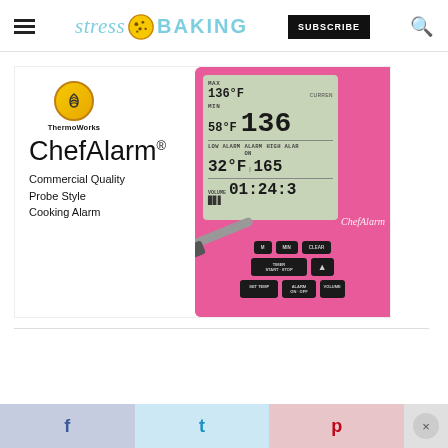stress BAKING — SUBSCRIBE
[Figure (photo): ThermoWorks ChefAlarm product advertisement image showing a pink ChefAlarm cooking thermometer with LCD display showing temperature readings (MAX 136°F, MIN 58°F, LOW ALARM 32°F, HIGH ALARM 165°F, time 01:24:3) and text: Commercial Quality Probe Style Cooking Alarm]
f  t  p  ×